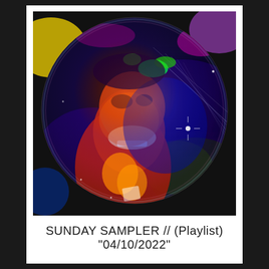[Figure (photo): Colorful psychedelic photo of a person with a wide smile, viewed through a circular fisheye or bubble lens effect. The image is filled with vivid colors — neon green, purple, blue, red, orange — with light streaks and glittering effects. A circular crop gives it a globe-like appearance. Dark background with star-like light points.]
SUNDAY SAMPLER // (Playlist)
"04/10/2022"